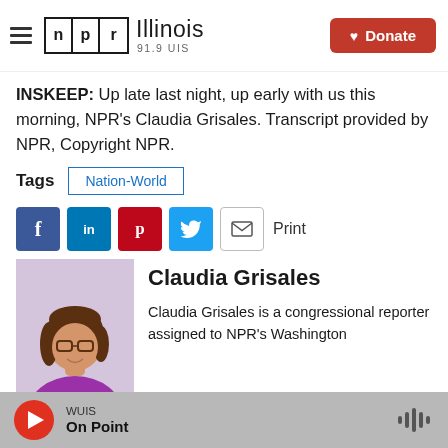NPR Illinois 91.9 UIS — Donate
INSKEEP: Up late last night, up early with us this morning, NPR's Claudia Grisales. Transcript provided by NPR, Copyright NPR.
Tags  Nation-World
[Figure (infographic): Social sharing buttons: Facebook, LinkedIn, Pinterest, Twitter, Email, Print]
[Figure (photo): Headshot photo of Claudia Grisales, a woman with brown hair and glasses wearing a purple top]
Claudia Grisales
Claudia Grisales is a congressional reporter assigned to NPR's Washington
WUIS  On Point